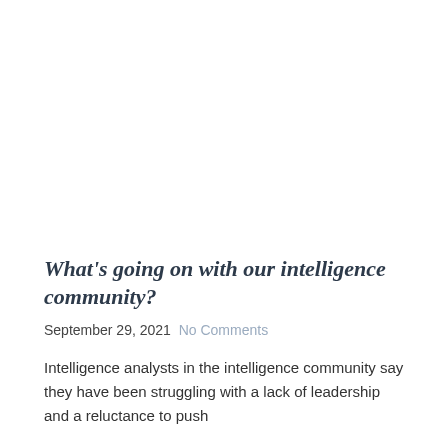What's going on with our intelligence community?
September 29, 2021  No Comments
Intelligence analysts in the intelligence community say they have been struggling with a lack of leadership and a reluctance to push